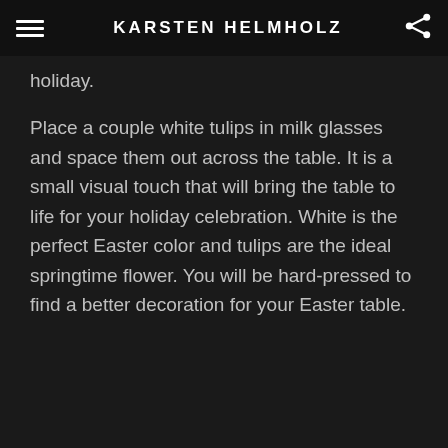KARSTEN HELMHOLZ
holiday.
Place a couple white tulips in milk glasses and space them out across the table. It is a small visual touch that will bring the table to life for your holiday celebration. White is the perfect Easter color and tulips are the ideal springtime flower. You will be hard-pressed to find a better decoration for your Easter table.